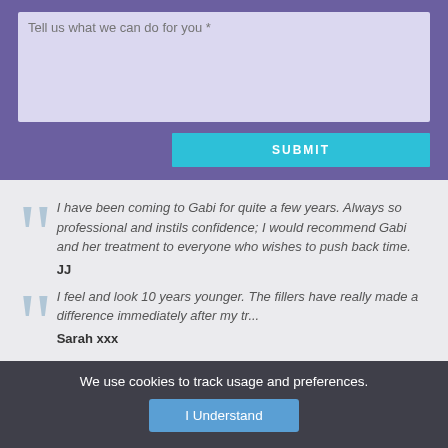Tell us what we can do for you *
SUBMIT
I have been coming to Gabi for quite a few years. Always so professional and instils confidence; I would recommend Gabi and her treatment to everyone who wishes to push back time.
JJ
I feel and look 10 years younger. The fillers have really made a difference immediately after my tr...
Sarah xxx
We use cookies to track usage and preferences.
I Understand